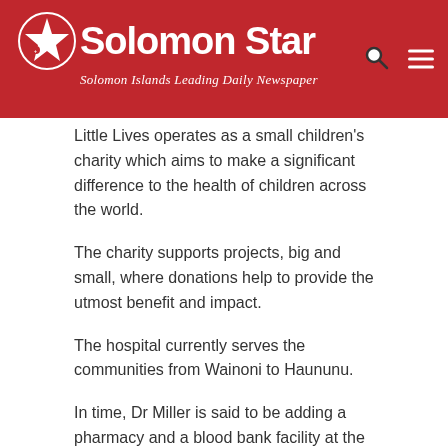Solomon Star – Solomon Islands Leading Daily Newspaper
Little Lives operates as a small children's charity which aims to make a significant difference to the health of children across the world.
The charity supports projects, big and small, where donations help to provide the utmost benefit and impact.
The hospital currently serves the communities from Wainoni to Haununu.
In time, Dr Miller is said to be adding a pharmacy and a blood bank facility at the hospital.  The TB ward is understood to have already been finished following the provision of flooring.